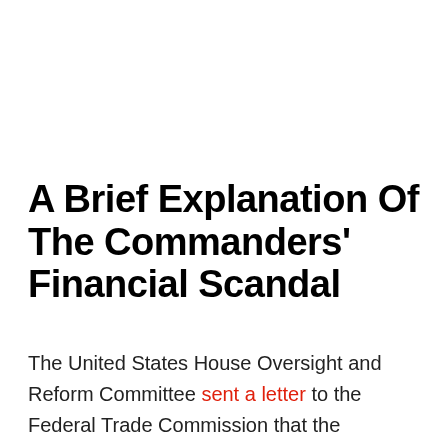A Brief Explanation Of The Commanders' Financial Scandal
The United States House Oversight and Reform Committee sent a letter to the Federal Trade Commission that the Commanders allegedly kept two financial books and concealed parts of their revenue from ticket